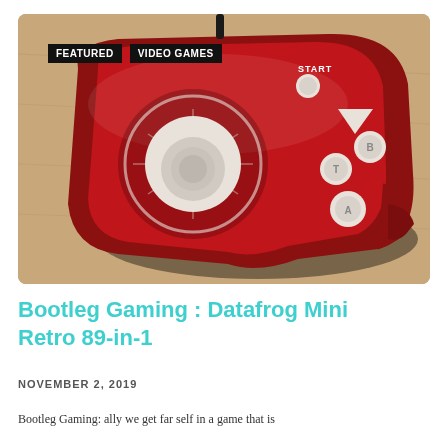[Figure (photo): Red Datafrog Mini Retro 89-in-1 handheld game controller with analog joystick, d-pad, A/B/T buttons, and START button, photographed on a wooden surface]
FEATURED   VIDEO GAMES
Bootleg Gaming : Datafrog Mini Retro 89-in-1
NOVEMBER 2, 2019
Bootleg Gaming: ally we get far self in a game that is